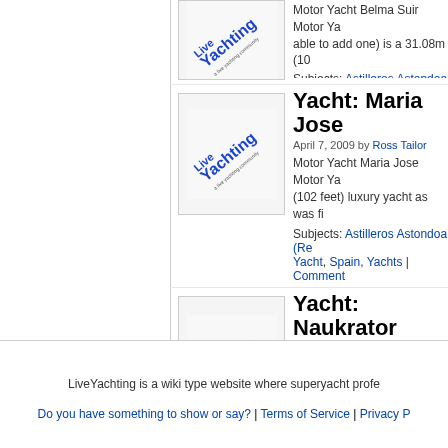[Figure (logo): LiveYachting logo - diagonal text on white background with 'LiveYachting' in blue and 'a live yachting community' tagline]
Motor Yacht Belma Suir Motor Ya... able to add one) is a 31.08m (10...
Subjects: Astilleros Astondoa (Re... Yacht, Spain, Yachts | Comment...
Yacht: Maria Jose
[Figure (logo): LiveYachting logo - diagonal text on white background]
April 7, 2009 by Ross Tailor
Motor Yacht Maria Jose Motor Ya... (102 feet) luxury yacht as was fi...
Subjects: Astilleros Astondoa (Re... Yacht, Spain, Yachts | Comment...
Yacht: Naukrator
[Figure (logo): LiveYachting logo - diagonal text on white background]
April 4, 2009 by Yacht Designer
Motor Yacht Naukrator Motor Ya... (103 feet) luxury yacht which wa... Group) …
Subjects: Astilleros Astondoa (Re... Naukrator, Spain, Yachts | Comm...
LiveYachting is a wiki type website where superyacht profe...
Do you have something to show or say? | Terms of Service | Privacy P...